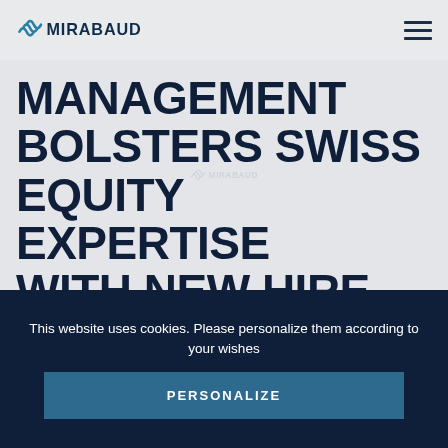[Figure (logo): Mirabaud logo with wave icon and MIRABAUD text in teal/dark blue]
MANAGEMENT BOLSTERS SWISS EQUITY EXPERTISE WITH NEW HIRE
This website uses cookies. Please personalize them according to your wishes
PERSONALIZE